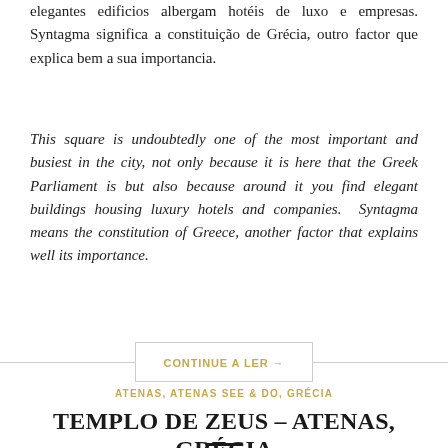elegantes edificios albergam hotéis de luxo e empresas. Syntagma significa a constituição de Grécia, outro factor que explica bem a sua importancia.
This square is undoubtedly one of the most important and busiest in the city, not only because it is here that the Greek Parliament is but also because around it you find elegant buildings housing luxury hotels and companies.  Syntagma means the constitution of Greece, another factor that explains well its importance.
CONTINUE A LER →
ATENAS, ATENAS SEE & DO, GRÉCIA
TEMPLO DE ZEUS – ATENAS, GRÉCIA